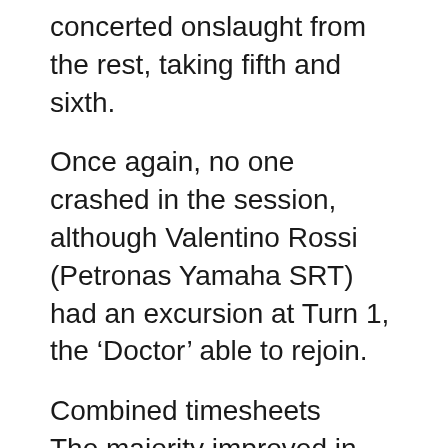concerted onslaught from the rest, taking fifth and sixth.
Once again, no one crashed in the session, although Valentino Rossi (Petronas Yamaha SRT) had an excursion at Turn 1, the ‘Doctor’ able to rejoin.
Combined timesheets
The majority improved in the afternoon, with the top seven in FP2 – Bagnaia, Rins, Morbidelli, Quartararo, Binder, Oliveira and, in seventh, top Honda Takaaki Nakagami (LCR Honda Idemitsu) – the top seven overall. Eighth place on the combined times is FP1’s fastest man Maverick Viñales, with the Spaniard’s best in the morning his best overall and absolutely identical to that of Nakagami in FP2.
Aleix Espargaro (Aprilia Racing Team Gresini) ends Day 1 in ninth place, with Jerez and Le Mans winner Jack Miller (Ducati Lenovo Team) in tenth place.